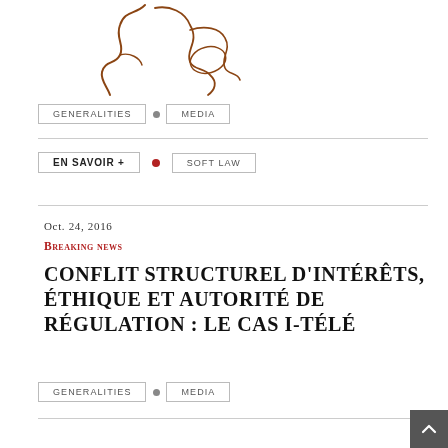[Figure (illustration): Partial decorative logo or signature illustration in brown/copper color, showing stylized cursive or abstract line art]
GENERALITIES • MEDIA
EN SAVOIR + • SOFT LAW
Oct. 24, 2016
Breaking news
CONFLIT STRUCTUREL D'INTÉRÊTS, ÉTHIQUE ET AUTORITÉ DE RÉGULATION : LE CAS I-TÉLÉ
GENERALITIES • MEDIA